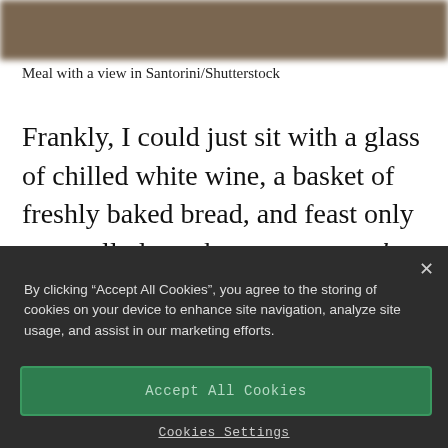[Figure (photo): Blurred/obscured photo of a meal with a view in Santorini, background brownish-olive tones]
Meal with a view in Santorini/Shutterstock
Frankly, I could just sit with a glass of chilled white wine, a basket of freshly baked bread, and feast only on small plates, known as mezethes in Greece. (You may also know this meal as meze or
By clicking “Accept All Cookies”, you agree to the storing of cookies on your device to enhance site navigation, analyze site usage, and assist in our marketing efforts.
Accept All Cookies
Cookies Settings